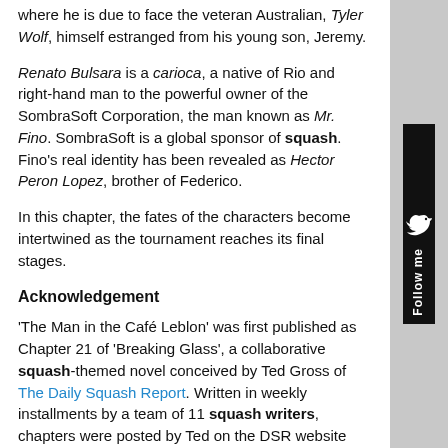where he is due to face the veteran Australian, Tyler Wolf, himself estranged from his young son, Jeremy.
Renato Bulsara is a carioca, a native of Rio and right-hand man to the powerful owner of the SombraSoft Corporation, the man known as Mr. Fino. SombraSoft is a global sponsor of squash. Fino's real identity has been revealed as Hector Peron Lopez, brother of Federico.
In this chapter, the fates of the characters become intertwined as the tournament reaches its final stages.
Acknowledgement
'The Man in the Café Leblon' was first published as Chapter 21 of 'Breaking Glass', a collaborative squash-themed novel conceived by Ted Gross of The Daily Squash Report. Written in weekly installments by a team of 11 squash writers, chapters were posted by Ted on the DSR website where the novel can be read it in its entirety.